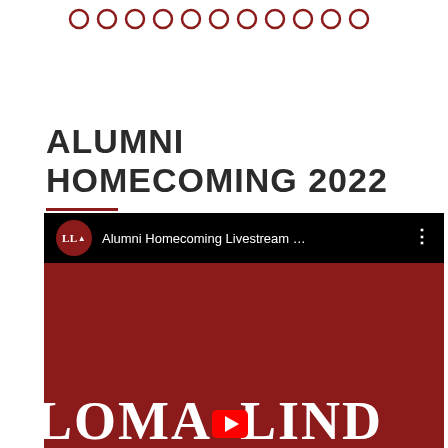[Figure (illustration): Row of small dark red circle outlines used as a decorative header divider]
ALUMNI HOMECOMING 2022
[Figure (screenshot): Screenshot of a YouTube video player showing 'Alumni Homecoming Livestream ...' with the LLA channel logo (dark red circle with white LLA text) in the top bar, and a dark red thumbnail with large white text reading 'LOMA LIND' (partially visible) and a red YouTube play button at the bottom]